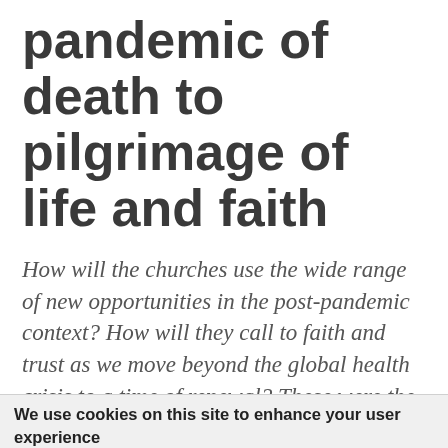pandemic of death to pilgrimage of life and faith
How will the churches use the wide range of new opportunities in the post-pandemic context? How will they call to faith and trust as we move beyond the global health crisis to a time of renewal? These were the core questions that representatives of the European region addressed during a discussion that took place at the World
We use cookies on this site to enhance your user experience